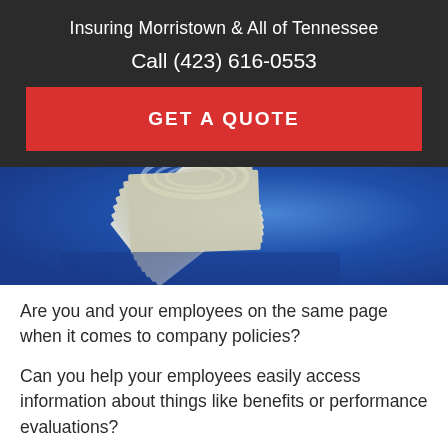Insuring Morristown & All of Tennessee
Call (423) 616-0553
GET A QUOTE
[Figure (photo): Close-up photo of a binder or book with pages fanned out on a blue background]
Are you and your employees on the same page when it comes to company policies?
Can you help your employees easily access information about things like benefits or performance evaluations?